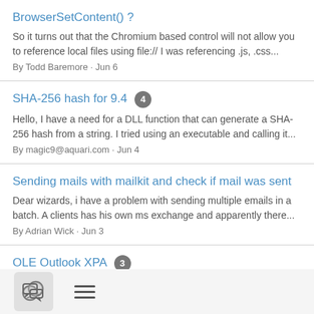BrowserSetContent() ?
So it turns out that the Chromium based control will not allow you to reference local files using file:// I was referencing .js, .css...
By Todd Baremore · Jun 6
SHA-256 hash for 9.4 [4]
Hello, I have a need for a DLL function that can generate a SHA-256 hash from a string. I tried using an executable and calling it...
By magic9@aquari.com · Jun 4
Sending mails with mailkit and check if mail was sent
Dear wizards, i have a problem with sending multiple emails in a batch. A clients has his own ms exchange and apparently there...
By Adrian Wick · Jun 3
OLE Outlook XPA [3]
Hi Group, I'm currently upgrading a client from edev 9.4 to xpa4.7 One of the programs interfaces with Outlook to send email...